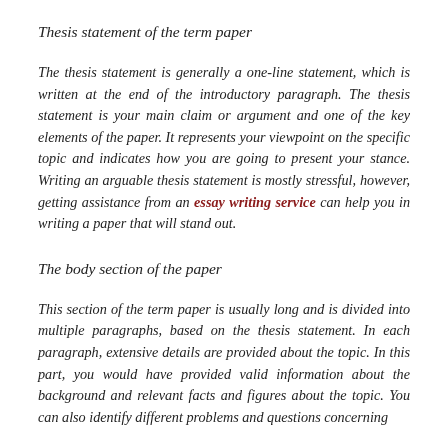Thesis statement of the term paper
The thesis statement is generally a one-line statement, which is written at the end of the introductory paragraph. The thesis statement is your main claim or argument and one of the key elements of the paper. It represents your viewpoint on the specific topic and indicates how you are going to present your stance. Writing an arguable thesis statement is mostly stressful, however, getting assistance from an essay writing service can help you in writing a paper that will stand out.
The body section of the paper
This section of the term paper is usually long and is divided into multiple paragraphs, based on the thesis statement. In each paragraph, extensive details are provided about the topic. In this part, you would have provided valid information about the background and relevant facts and figures about the topic. You can also identify different problems and questions concerning...